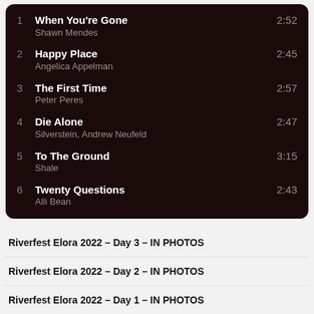1 When You're Gone — Shawn Mendes — 2:52
2 Happy Place — Angelica Appelman — 2:45
3 The First Time — Peter Peres — 2:57
4 Die Alone — Silverstein, Andrew Neufeld — 2:47
5 To The Ground — Shale — 3:15
6 Twenty Questions — Alli Bean — 2:43
Riverfest Elora 2022 – Day 3 – IN PHOTOS
Riverfest Elora 2022 – Day 2 – IN PHOTOS
Riverfest Elora 2022 – Day 1 – IN PHOTOS